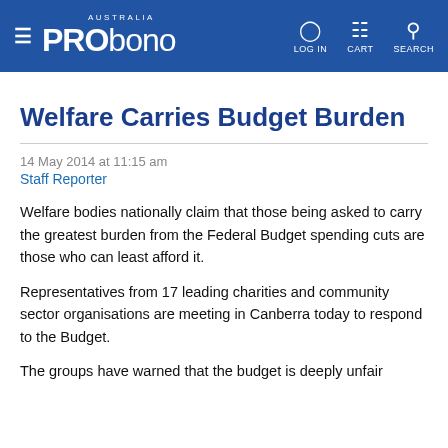PRO bono AUSTRALIA — LOG IN  CART  SEARCH
Welfare Carries Budget Burden
14 May 2014 at 11:15 am
Staff Reporter
Welfare bodies nationally claim that those being asked to carry the greatest burden from the Federal Budget spending cuts are those who can least afford it.
Representatives from 17 leading charities and community sector organisations are meeting in Canberra today to respond to the Budget.
The groups have warned that the budget is deeply unfair